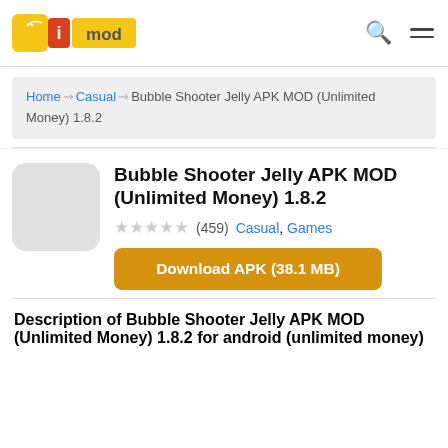iMOD logo with search and menu icons
Home > Casual > Bubble Shooter Jelly APK MOD (Unlimited Money) 1.8.2
Bubble Shooter Jelly APK MOD (Unlimited Money) 1.8.2
★★★★★ (459) Casual, Games
Download APK (38.1 MB)
Description of Bubble Shooter Jelly APK MOD (Unlimited Money) 1.8.2 for android (unlimited money)